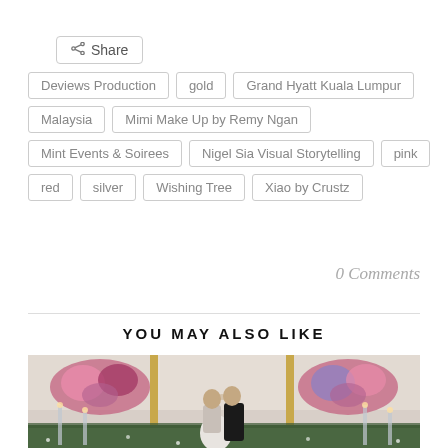< Share
Deviews Production
gold
Grand Hyatt Kuala Lumpur
Malaysia
Mimi Make Up by Remy Ngan
Mint Events & Soirees
Nigel Sia Visual Storytelling
pink
red
silver
Wishing Tree
Xiao by Crustz
0 Comments
YOU MAY ALSO LIKE
[Figure (photo): Wedding couple kissing in front of a floral backdrop with tall glass candle holders and colorful flower arrangements at what appears to be a ballroom reception venue]